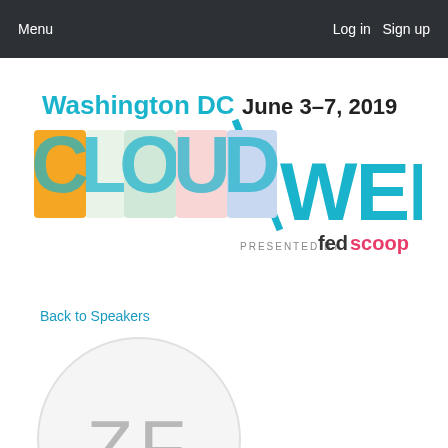Menu   Log in   Sign up
[Figure (logo): Washington DC Cloud Week June 3-7, 2019 presented by FedScoop event logo with city landmark imagery inside the letters]
Back to Speakers
[Figure (illustration): Speaker profile avatar placeholder circle with initials ZF]